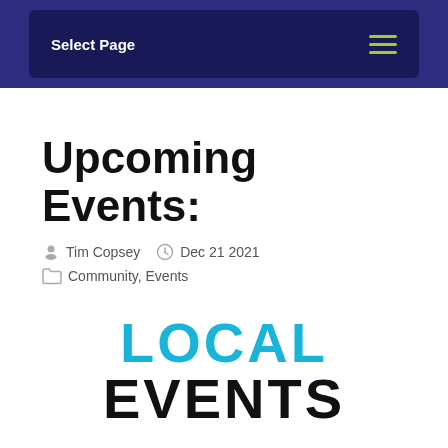Select Page
Upcoming Events:
Tim Copsey  Dec 21 2021
Community, Events
[Figure (logo): LOCAL EVENTS text logo with LOCAL in cyan/teal and EVENTS in black bold text]